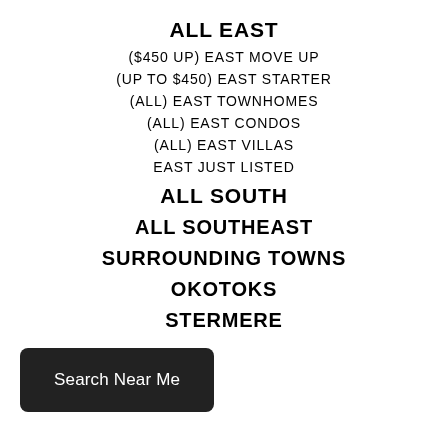ALL EAST
($450 UP) EAST MOVE UP
(UP TO $450) EAST STARTER
(ALL) EAST TOWNHOMES
(ALL) EAST CONDOS
(ALL) EAST VILLAS
EAST JUST LISTED
ALL SOUTH
ALL SOUTHEAST
SURROUNDING TOWNS
OKOTOKS
…STERMERE
Search Near Me